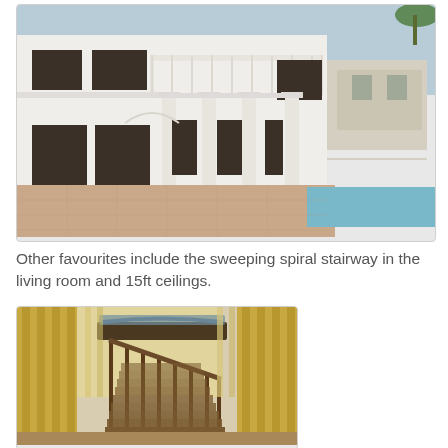[Figure (photo): Exterior of a large two-storey white villa with classical columns, balcony railings, dark-framed windows, terracotta-tiled driveway, and a swimming pool edge visible on the right. Another house visible in the background right.]
Other favourites include the sweeping spiral stairway in the living room and 15ft ceilings.
[Figure (photo): Interior photo of a sweeping spiral staircase with dark wood banisters and railings, tall vertical curtains in gold/yellow, and high ceilings with natural light coming through windows.]